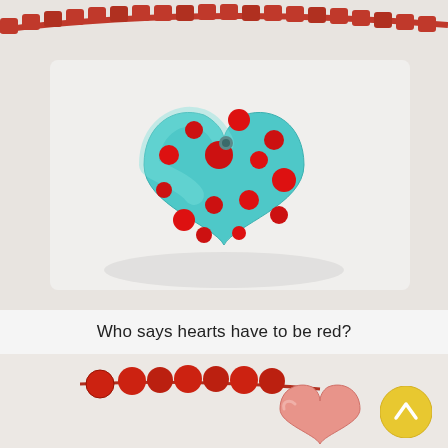[Figure (photo): Close-up photo of a turquoise heart-shaped ceramic pendant with red polka dots, strung on a red beaded necklace, on a white background.]
Who says hearts have to be red?
[Figure (photo): Partial photo of red beaded necklace with a light pink/coral heart-shaped pendant visible from the top, cropped at the bottom of the page.]